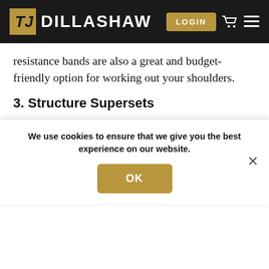DILLASHAW — LOGIN
resistance bands are also a great and budget-friendly option for working out your shoulders.
3. Structure Supersets
To really target and fatigue any muscle group, especially if you're only using your bodyweight, you'll want to add some supersets to your regime. This can look like structuring a workout where you're stacking,
We use cookies to ensure that we give you the best experience on our website.